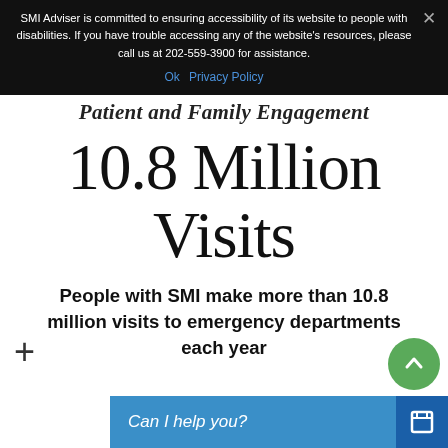SMI Adviser is committed to ensuring accessibility of its website to people with disabilities. If you have trouble accessing any of the website's resources, please call us at 202-559-3900 for assistance.
Ok   Privacy Policy
Patient and Family Engagement
10.8 Million Visits
People with SMI make more than 10.8 million visits to emergency departments each year
Can I help you?